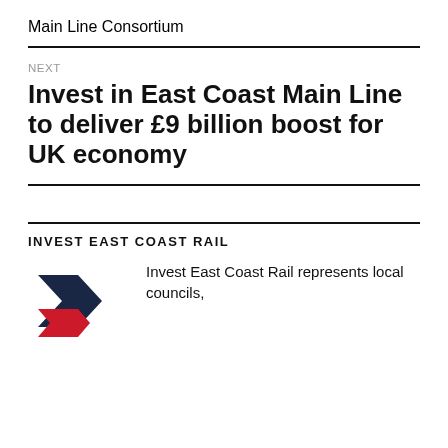Main Line Consortium
NEXT
Invest in East Coast Main Line to deliver £9 billion boost for UK economy
INVEST EAST COAST RAIL
[Figure (logo): Invest East Coast Rail logo — dark navy and red diagonal chevron stripes]
Invest East Coast Rail represents local councils,